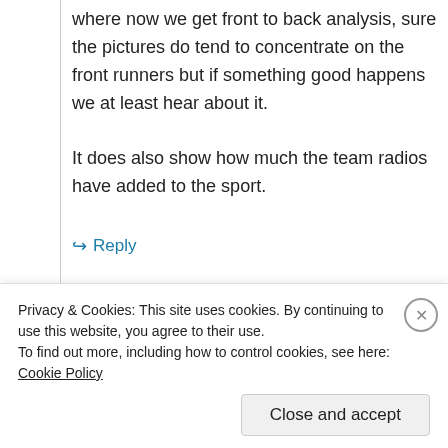where now we get front to back analysis, sure the pictures do tend to concentrate on the front runners but if something good happens we at least hear about it.

It does also show how much the team radios have added to the sport.
↪ Reply
Advertisements
Privacy & Cookies: This site uses cookies. By continuing to use this website, you agree to their use.
To find out more, including how to control cookies, see here: Cookie Policy
Close and accept